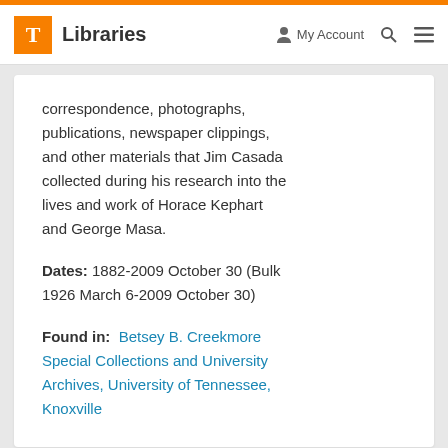T Libraries   My Account  Search  Menu
correspondence, photographs, publications, newspaper clippings, and other materials that Jim Casada collected during his research into the lives and work of Horace Kephart and George Masa.
Dates: 1882-2009 October 30 (Bulk 1926 March 6-2009 October 30)
Found in: Betsey B. Creekmore Special Collections and University Archives, University of Tennessee, Knoxville